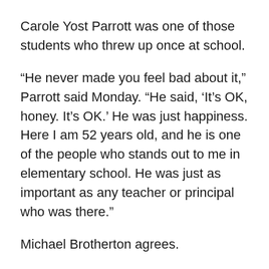Carole Yost Parrott was one of those students who threw up once at school.
“He never made you feel bad about it,” Parrott said Monday. “He said, ‘It’s OK, honey. It’s OK.’ He was just happiness. Here I am 52 years old, and he is one of the people who stands out to me in elementary school. He was just as important as any teacher or principal who was there.”
Michael Brotherton agrees.
“Everybody knew Carl,” he said Monday. “He was an icon of China Grove.”
He added, “He was one great guy. He was a humble and loving person. He’d ask for volunteers